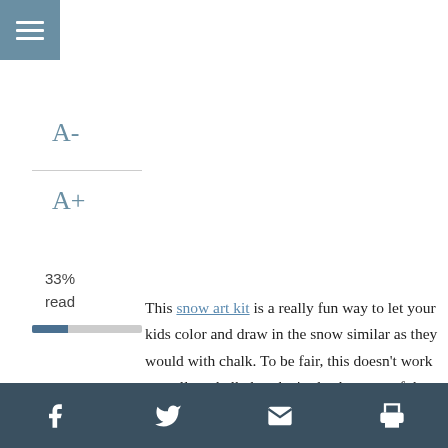[Figure (other): Menu button icon with three horizontal white lines on a steel blue square background]
A-
A+
33%
read
[Figure (other): Progress bar showing 33% read, with a dark blue filled portion and light gray remaining portion]
This snow art kit is a really fun way to let your kids color and draw in the snow similar as they would with chalk. To be fair, this doesn't work as well as chalk, but that's also because of the nature of snow. Snow tends to melt a bit and make it harder to see what's actually going on
Footer bar with social sharing icons: Facebook, Twitter, Email, Print